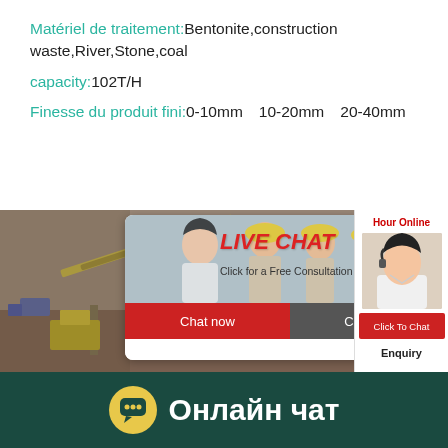Matériel de traitement: Bentonite,construction waste,River,Stone,coal
capacity: 102T/H
Finesse du produit fini: 0-10mm、10-20mm、20-40mm
[Figure (screenshot): Construction site with heavy machinery conveyor belts, overlaid with a live chat popup showing 'LIVE CHAT - Click for a Free Consultation' with Chat now and Chat later buttons, plus a right panel with an agent photo, Click To Chat and Enquiry buttons.]
Онлайн чат